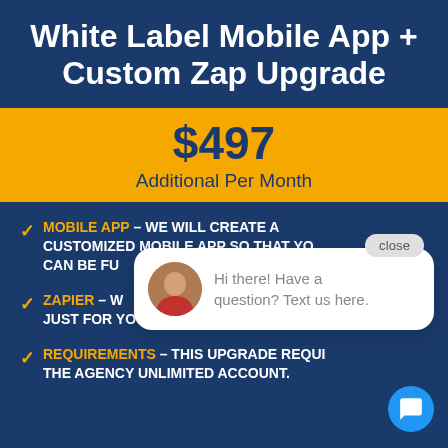White Label Mobile App + Custom Zap Upgrade
$497 Additional Per Month
MOBILE APP – WE WILL CREATE A CUSTOMIZED MOBILE APP SO THAT YO... CAN BE FU...
ZAPIER – W... JUST FOR YOUR BRAND
REQUIREMENTS – THIS UPGRADE REQUI... THE AGENCY UNLIMITED ACCOUNT.
[Figure (other): Chat popup overlay with avatar photo and message: Hi there! Have a question? Text us here. With close button and blue chat button.]